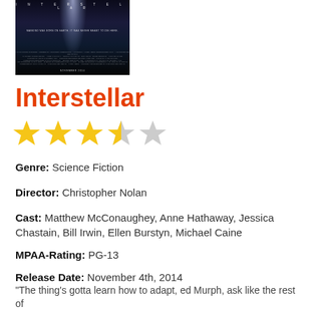[Figure (photo): Movie poster for Interstellar — dark background with light beam, small text including tagline and credits, 'NOVEMBER 2014' at bottom]
Interstellar
[Figure (other): Star rating: 3.5 out of 5 stars (three full gold stars, one half gold/grey star, one empty grey star)]
Genre: Science Fiction
Director: Christopher Nolan
Cast: Matthew McConaughey, Anne Hathaway, Jessica Chastain, Bill Irwin, Ellen Burstyn, Michael Caine
MPAA-Rating: PG-13
Release Date: November 4th, 2014
"The thing's gotta learn how to adapt, ed Murph, ask like the rest of